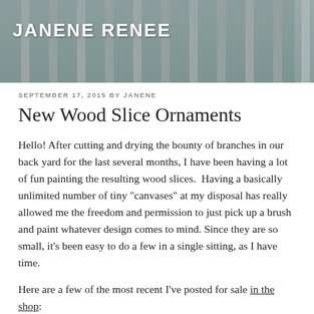[Figure (photo): Header photo showing a person wearing a teal/turquoise knit hat with white fence posts in the background, appears to be a winter scene]
JANENE RENEE
SEPTEMBER 17, 2015 BY JANENE
New Wood Slice Ornaments
Hello!  After cutting and drying the bounty of branches in our back yard for the last several months, I have been having a lot of fun painting the resulting wood slices.  Having a basically unlimited number of tiny "canvases" at my disposal has really allowed me the freedom and permission to just pick up a brush and paint whatever design comes to mind.  Since they are so small, it's been easy to do a few in a single sitting, as I have time.
Here are a few of the most recent I've posted for sale in the shop: